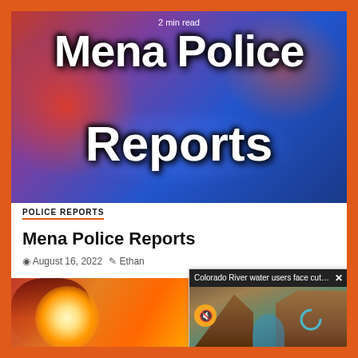[Figure (photo): Hero image with purple/blue and red bokeh police lights background with large white text 'Mena Police Reports' and '2 min read' badge at top]
2 min read
Mena Police Reports
POLICE REPORTS
Mena Police Reports
August 16, 2022  Ethan
[Figure (photo): Bottom-left image showing orange/red fire or explosion with smoke against a dark background]
[Figure (screenshot): Popup overlay showing 'Colorado River water users face cuts a...' with an X close button, and a photo of the Colorado River canyon with a mute button and loading spinner]